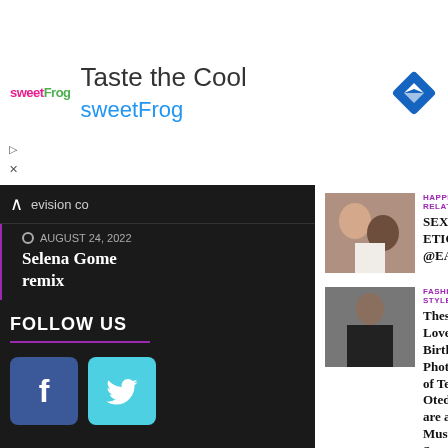[Figure (screenshot): sweetFrog ad banner with logo, 'Taste the Cool' heading, sweetFrog subtitle, and blue diamond navigation icon]
[Figure (screenshot): Left sidebar with dark background showing navigation URL, article date August 24 2022, Selena Gomez remix article title, FOLLOW US section with Facebook and Twitter buttons]
HAPPINESS RELATIONSHIPS
SEX ETIQUETTE @EASTER
FASHION & STYLE
These Lovely Birthday Photos of Temi Otedola are a Must-See
NEWS TRENDING
Domestic violence: FG files 23-count charges against late Osinachi's husband